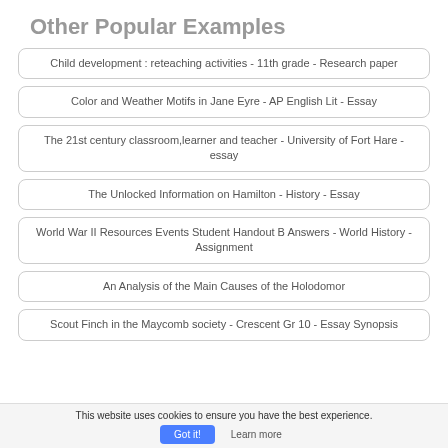Other Popular Examples
Child development : reteaching activities - 11th grade - Research paper
Color and Weather Motifs in Jane Eyre - AP English Lit - Essay
The 21st century classroom,learner and teacher - University of Fort Hare - essay
The Unlocked Information on Hamilton - History - Essay
World War II Resources Events Student Handout B Answers - World History - Assignment
An Analysis of the Main Causes of the Holodomor
Scout Finch in the Maycomb society - Crescent Gr 10 - Essay Synopsis
This website uses cookies to ensure you have the best experience.